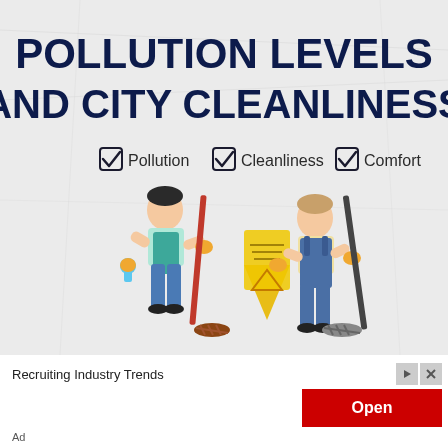[Figure (illustration): Infographic illustration with crumpled paper background. Large bold dark navy text reads 'POLLUTION LEVELS AND CITY CLEANLINESS'. Below are three checked checkbox icons labeled 'Pollution', 'Cleanliness', and 'Comfort'. Two cartoon cleaning workers are depicted: one on the left wearing a teal apron and blue pants holding a mop, one on the right wearing blue overalls holding a mop/broom, with a yellow wet floor caution sign in the center.]
Recruiting Industry Trends
[Figure (other): Red button with white bold text reading 'Open', and small gray icon buttons with play and close icons to the right of the ad text.]
Ad